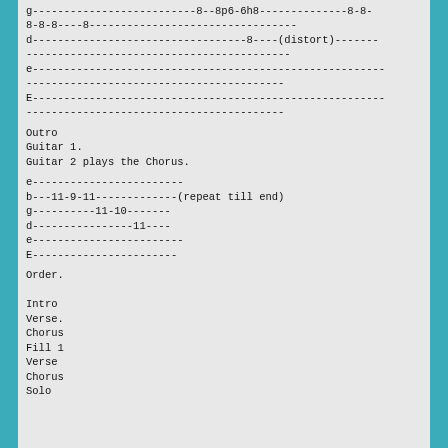g--------------------------8--8p6-6h8--------------8-8-8-8-8----8--------------------------------
d----------------------------------8----(distort)------------------------------------------
e------------------------------------------------------------------------
E------------------------------------------------------------------------
Outro
Guitar 1.
Guitar 2 plays the Chorus.
e------------------------
b---11-9-11-------------(repeat till end)
g----------11-10-------
d----------------11----
e------------------------
E-----------------------
Order.

Intro
Verse.
Chorus
Fill 1
Verse
Chorus
Solo